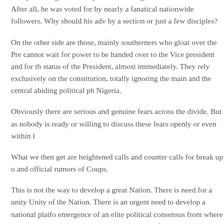than presenting a national problem seeking for a national solution. After all, he was voted for by nearly a fanatical nationwide followers. Why should his adv by a section or just a few disciples?
On the other side are those, mainly southerners who gloat over the Pre cannot wait for power to be handed over to the Vice president and for th status of the President, almost immediately. They rely exclusively on the constitution, totally ignoring the main and the central abiding political ph Nigeria.
Obviously there are serious and genuine fears across the divide. But as nobody is ready or willing to discuss these fears openly or even within l
What we then get are heightened calls and counter calls for break up o and official rumors of Coups.
This is not the way to develop a great Nation. There is need for a unity Unity of the Nation. There is an urgent need to develop a national platfo emergence of an elite political consensus from where we can always lo problems and bring about unified national solutions. Then and only can journey to its divine destiny of greatness
Tags  NEWS
REACTIONS